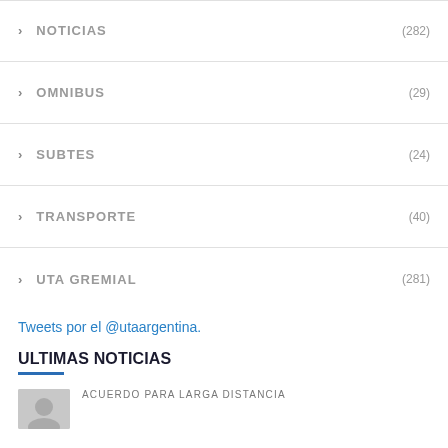> NOTICIAS (282)
> OMNIBUS (29)
> SUBTES (24)
> TRANSPORTE (40)
> UTA GREMIAL (281)
Tweets por el @utaargentina.
ULTIMAS NOTICIAS
ACUERDO PARA LARGA DISTANCIA